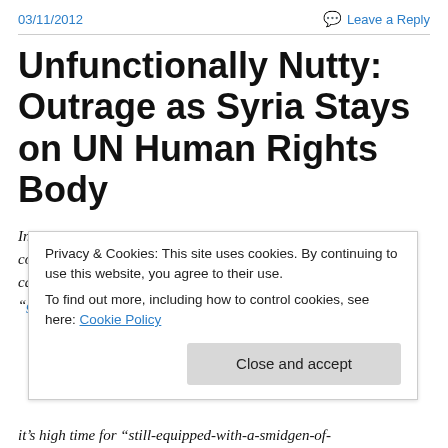03/11/2012   Leave a Reply
Unfunctionally Nutty: Outrage as Syria Stays on UN Human Rights Body
In addition to this senseless decision, the “we-seek-to-be-Sharia-compliant-and-never-hurt-Muslim-feelings” United Nations has called upon the US military to punish the Qur’an burners for their “grave mistake.” It has appointed
Privacy & Cookies: This site uses cookies. By continuing to use this website, you agree to their use.
To find out more, including how to control cookies, see here: Cookie Policy
[Close and accept]
it’s high time for  “still-equipped-with-a-smidgen-of-